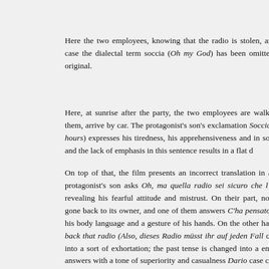Here the two employees, knowing that the radio is stolen, are worr case the dialectal term soccia (Oh my God) has been omitted in the original.
Here, at sunrise after the party, the two employees are walking alo them, arrive by car. The protagonist's son's exclamation Soccia, è two hours) expresses his tiredness, his apprehensiveness and in so soccia and the lack of emphasis in this sentence results in a flat d
On top of that, the film presents an incorrect translation in a scene protagonist's son asks Oh, ma quella radio sei sicuro che l'hai rip revealing his fearful attitude and mistrust. On their part, none of t gone back to its owner, and one of them answers C'ha pensato Da by his body language and a gesture of his hands. On the other han bring back that radio (Also, dieses Radio müsst ihr auf jeden Fall changed into a sort of exhortation; the past tense is changed into a employee answers with a tone of superiority and casualness Dario case could be interpreted as if he had intended to say Don't get flu standardize varieties employed or not to translate them at all (Nad